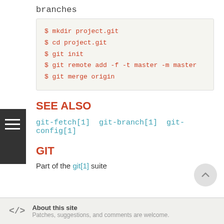branches
$ mkdir project.git
$ cd project.git
$ git init
$ git remote add -f -t master -m master
$ git merge origin
SEE ALSO
git-fetch[1] git-branch[1] git-config[1]
GIT
Part of the git[1] suite
About this site
Patches, suggestions, and comments are welcome.